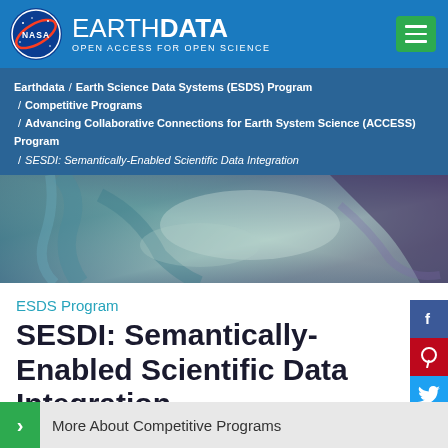NASA EARTHDATA OPEN ACCESS FOR OPEN SCIENCE
Earthdata / Earth Science Data Systems (ESDS) Program / Competitive Programs / Advancing Collaborative Connections for Earth System Science (ACCESS) Program / SESDI: Semantically-Enabled Scientific Data Integration
[Figure (photo): Satellite or aerial image of a coastal/river delta area in blue-green and purple tones]
ESDS Program
SESDI: Semantically-Enabled Scientific Data Integration
More About Competitive Programs